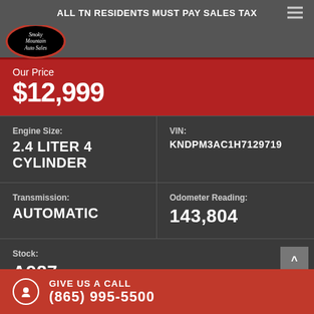ALL TN RESIDENTS MUST PAY SALES TAX
[Figure (logo): Smoky Mountain Auto Sales oval logo with red border on black background]
Our Price
$12,999
Engine Size: 2.4 LITER 4 CYLINDER
VIN: KNDPM3AC1H7129719
Transmission: AUTOMATIC
Odometer Reading: 143,804
Stock: A987
GIVE US A CALL